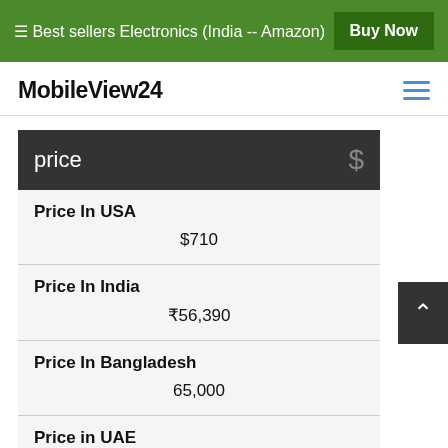☰ Best sellers Electronics (India -- Amazon)  Buy Now
MobileView24
| price | $ |
| --- | --- |
| Price In USA | $710 |
| Price In India | ₹56,390 |
| Price In Bangladesh | 65,000 |
| Price in UAE | AED 2,431 |